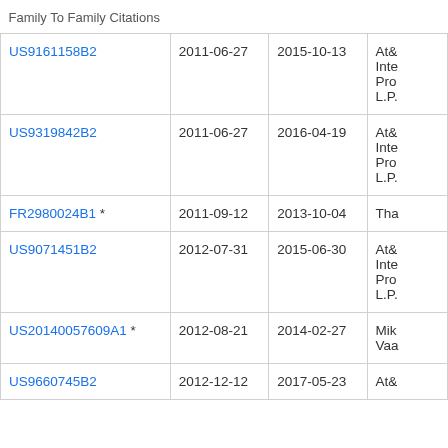| Patent | Filing Date | Publication Date | Assignee |
| --- | --- | --- | --- |
| US9161158B2 | 2011-06-27 | 2015-10-13 | At& Inte Pro L.P. |
| US9319842B2 | 2011-06-27 | 2016-04-19 | At& Inte Pro L.P. |
| FR2980024B1 * | 2011-09-12 | 2013-10-04 | Tha |
| US9071451B2 | 2012-07-31 | 2015-06-30 | At& Inte Pro L.P. |
| US20140057609A1 * | 2012-08-21 | 2014-02-27 | Mik Vaa |
| US9660745B2 | 2012-12-12 | 2017-05-23 | At& |